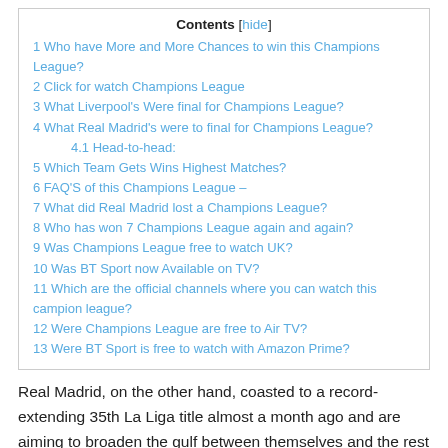Contents [hide]
1 Who have More and More Chances to win this Champions League?
2 Click for watch Champions League
3 What Liverpool's Were final for Champions League?
4 What Real Madrid's were to final for Champions League?
4.1 Head-to-head:
5 Which Team Gets Wins Highest Matches?
6 FAQ'S of this Champions League –
7 What did Real Madrid lost a Champions League?
8 Who has won 7 Champions League again and again?
9 Was Champions League free to watch UK?
10 Was BT Sport now Available on TV?
11 Which are the official channels where you can watch this campion league?
12 Were Champions League are free to Air TV?
13 Were BT Sport is free to watch with Amazon Prime?
Real Madrid, on the other hand, coasted to a record-extending 35th La Liga title almost a month ago and are aiming to broaden the gulf between themselves and the rest of the European clubs by clinching their 14th Champions League title. Since taking charge in Spain last June, Carlo Ancelotti has revived the fortunes of the La Liga giants, who despite not being at their best, won the league